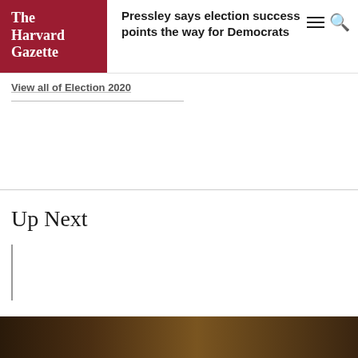The Harvard Gazette
Pressley says election success points the way for Democrats
View all of Election 2020
Up Next
NATIONAL & WORLD AFFAIRS
Appeals court finds for Harvard in admissions case
[Figure (photo): Dark photo image at the bottom of the page]